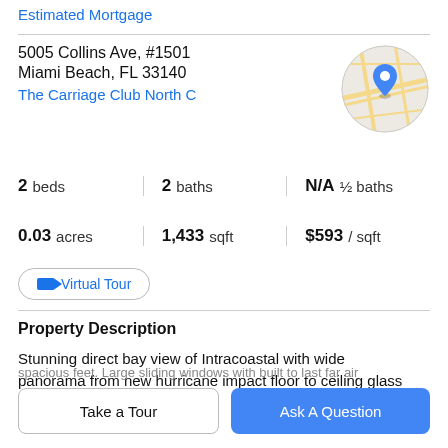Estimated Mortgage
5005 Collins Ave, #1501
Miami Beach, FL 33140
The Carriage Club North C
[Figure (map): Circular map thumbnail with blue location pin, showing street map of Miami Beach area]
2 beds   2 baths   N/A ½ baths
0.03 acres   1,433 sqft   $593 / sqft
Virtual Tour
Property Description
Stunning direct bay view of Intracoastal with wide panorama from new hurricane impact floor to ceiling glass
spacious feet. Large sliding windows with built to last far air